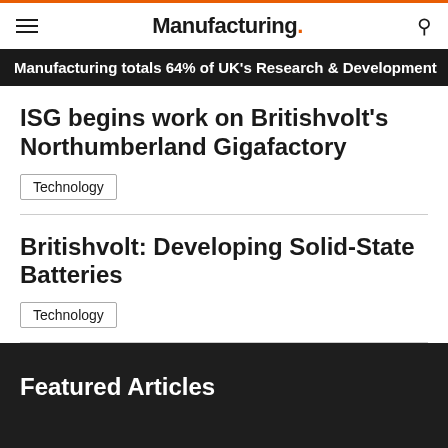Manufacturing.
Manufacturing totals 64% of UK's Research & Development
ISG begins work on Britishvolt's Northumberland Gigafactory
Technology
Britishvolt: Developing Solid-State Batteries
Technology
Featured Articles